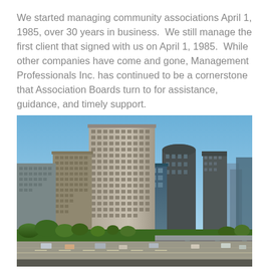We started managing community associations April 1, 1985, over 30 years in business. We still manage the first client that signed with us on April 1, 1985. While other companies have come and gone, Management Professionals Inc. has continued to be a cornerstone that Association Boards turn to for assistance, guidance, and timely support.
[Figure (photo): Cityscape photo showing downtown Los Angeles skyscrapers under a clear blue sky, with a freeway visible in the foreground with cars.]